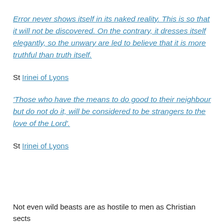Error never shows itself in its naked reality. This is so that it will not be discovered. On the contrary, it dresses itself elegantly, so the unwary are led to believe that it is more truthful than truth itself.
St Irinei of Lyons
‘Those who have the means to do good to their neighbour but do not do it, will be considered to be strangers to the love of the Lord’.
St Irinei of Lyons
Not even wild beasts are as hostile to men as Christian sects